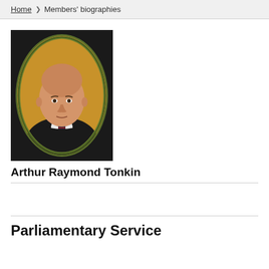Home  ❯  Members' biographies
[Figure (photo): Portrait photograph of Arthur Raymond Tonkin, a middle-aged man wearing a dark suit and striped tie, shown in an oval frame with dark background.]
Arthur Raymond Tonkin
Parliamentary Service